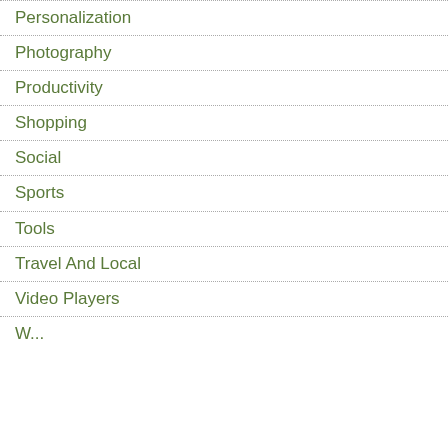Personalization
Photography
Productivity
Shopping
Social
Sports
Tools
Travel And Local
Video Players
Weather (partial)